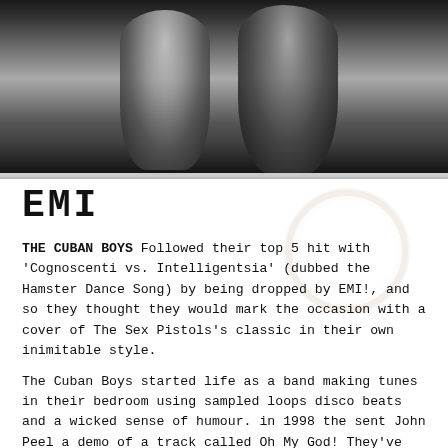[Figure (photo): Black and white photograph of two figures, likely musicians, shown from waist up against a dark background.]
EMI
THE CUBAN BOYS Followed their top 5 hit with 'Cognoscenti vs. Intelligentsia' (dubbed the Hamster Dance Song) by being dropped by EMI!, and so they thought they would mark the occasion with a cover of The Sex Pistols's classic in their own inimitable style.
The Cuban Boys started life as a band making tunes in their bedroom using sampled loops disco beats and a wicked sense of humour. in 1998 the sent John Peel a demo of a track called Oh My God! They've Killed Kenny. He played it loads and it ended up being released on Rough Trade's For US label and finishing at number 6 in the Scottish 50